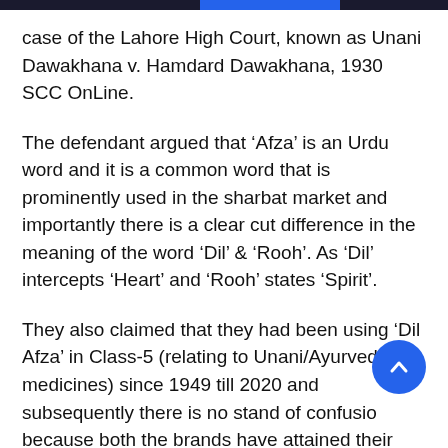case of the Lahore High Court, known as Unani Dawakhana v. Hamdard Dawakhana, 1930 SCC OnLine.
The defendant argued that ‘Afza’ is an Urdu word and it is a common word that is prominently used in the sharbat market and importantly there is a clear cut difference in the meaning of the word ‘Dil’ & ‘Rooh’. As ‘Dil’ intercepts ‘Heart’ and ‘Rooh’ states ‘Spirit’.
They also claimed that they had been using ‘Dil Afza’ in Class-5 (relating to Unani/Ayurvedic medicines) since 1949 till 2020 and subsequently there is no stand of confusion because both the brands have attained their